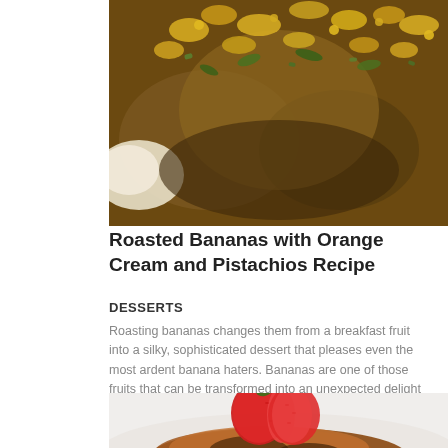[Figure (photo): Close-up photo of roasted bananas topped with yellow flowers/petals and green leaves/pistachios on a white plate, with a creamy sauce visible]
Roasted Bananas with Orange Cream and Pistachios Recipe
DESSERTS
Roasting bananas changes them from a breakfast fruit into a silky, sophisticated dessert that pleases even the most ardent banana haters. Bananas are one of those fruits that can be transformed into an unexpected delight by simply changing they way you cook with them....
[Figure (photo): Close-up photo of a dessert featuring a halved strawberry on top of what appears to be a caramelized banana or French toast on a white plate]